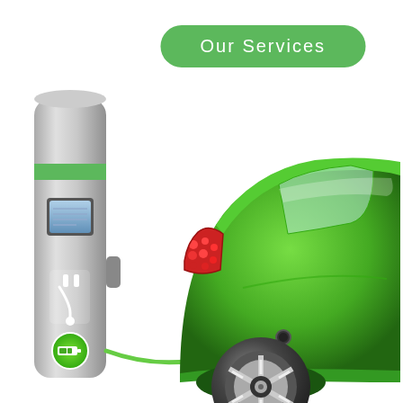[Figure (illustration): An electric vehicle charging station (silver/grey pillar with green stripe, plug icon, battery indicator, and a charging cable) on the left side, connected via a green cable to the rear of a bright green compact electric car on the right. The scene is set against a white background.]
Our Services